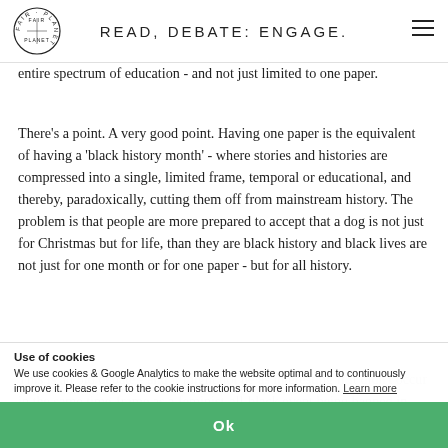READ, DEBATE: ENGAGE.
entire spectrum of education - and not just limited to one paper.
There's a point. A very good point. Having one paper is the equivalent of having a 'black history month' - where stories and histories are compressed into a single, limited frame, temporal or educational, and thereby, paradoxically, cutting them off from mainstream history. The problem is that people are more prepared to accept that a dog is not just for Christmas but for life, than they are black history and black lives are not just for one month or for one paper - but for all history.
This is an old debate - and it might not be as interesting if it didn't occur in the same time-frame as a feminist-all-black event being banned in Paris on the
Use of cookies
We use cookies & Google Analytics to make the website optimal and to continuously improve it. Please refer to the cookie instructions for more information. Learn more
Ok